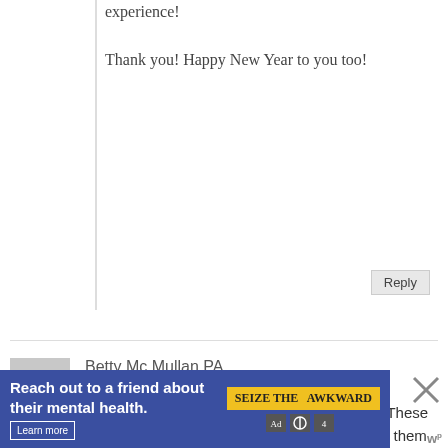experience!

Thank you! Happy New Year to you too!
Reply
Betty Mc Mullan PA
December 31, 2011 at 4:58 pm (11 years ago)
BROWN BUTTER COOKIE DOUGH BARS. These look and sound delicious. I would like to make them for my rubber stamping group at Christ time.
How do I print just the recipe and not all 17 pages.
[Figure (infographic): Ad banner: Reach out to a friend about their mental health. SEIZE THE AWKWARD. Learn more button. Ad council logos. Close X button.]